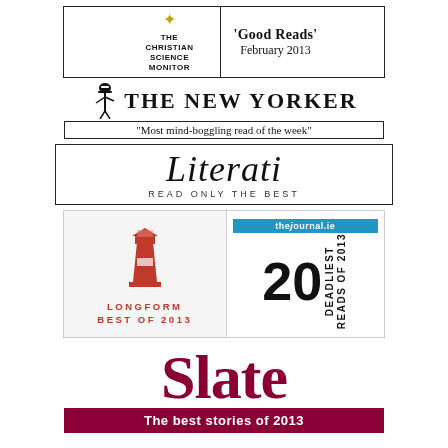[Figure (logo): The Christian Science Monitor logo with 'Good Reads' February 2013 banner]
[Figure (logo): The New Yorker logo with quote 'Most mind-boggling read of the week']
[Figure (logo): Literati - Read Only The Best logo]
[Figure (logo): Longform Best of 2013 lighthouse logo and thejournal.ie 20 Deadliest Reads of 2013]
[Figure (logo): Slate - The best stories of 2013]